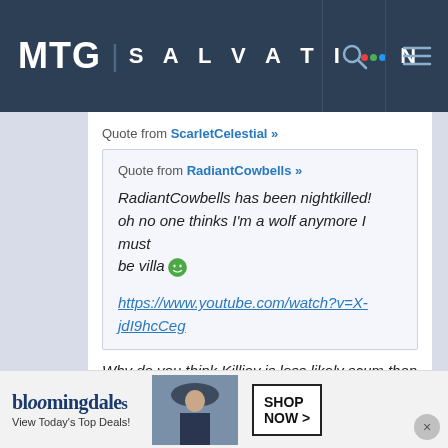MTG | SALVATION
Quote from ScarletCelestial »
Quote from RadiantCowbells »
RadiantCowbells has been nightkilled!
oh no one thinks I'm a wolf anymore I must be villa 🙂
https://www.youtube.com/watch?v=X-jdI9hcCeg
Why do you think Killjoy is less likely scum than Tom?
[Figure (screenshot): Bloomingdales advertisement banner: 'View Today's Top Deals!' with SHOP NOW > button and woman in hat image]